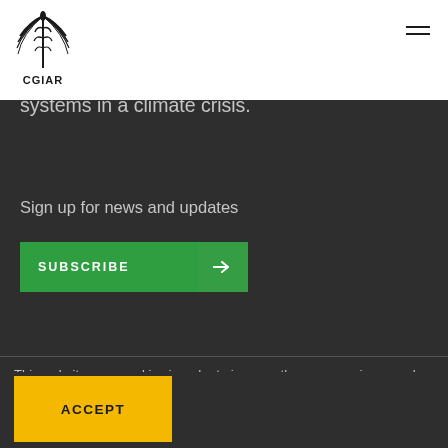[Figure (logo): CGIAR logo with wheat/bird emblem and text CGIAR below]
transforming food, land, and water systems in a climate crisis.
Sign up for news and updates
SUBSCRIBE →
This website uses cookies in order to improve the use experience and provide additional functionality  Detail
ACCEPT